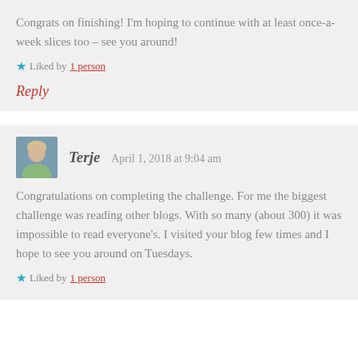Congrats on finishing! I'm hoping to continue with at least once-a-week slices too – see you around!
Liked by 1 person
Reply
Terje  April 1, 2018 at 9:04 am
Congratulations on completing the challenge. For me the biggest challenge was reading other blogs. With so many (about 300) it was impossible to read everyone's. I visited your blog few times and I hope to see you around on Tuesdays.
Liked by 1 person